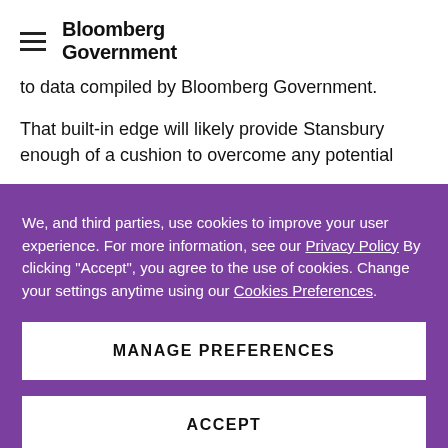Bloomberg Government
to data compiled by Bloomberg Government.
That built-in edge will likely provide Stansbury enough of a cushion to overcome any potential
We, and third parties, use cookies to improve your user experience. For more information, see our Privacy Policy By clicking "Accept", you agree to the use of cookies. Change your settings anytime using our Cookies Preferences.
MANAGE PREFERENCES
ACCEPT